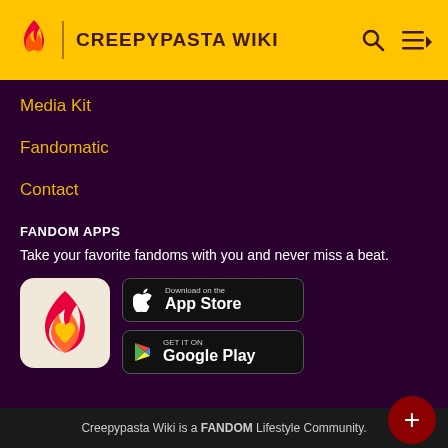CREEPYPASTA WIKI
Media Kit
Fandomatic
Contact
FANDOM APPS
Take your favorite fandoms with you and never miss a beat.
[Figure (logo): Fandom app icon with flame and heart logo on beige background]
[Figure (screenshot): Download on the App Store button]
[Figure (screenshot): Get it on Google Play button]
Creepypasta Wiki is a FANDOM Lifestyle Community.